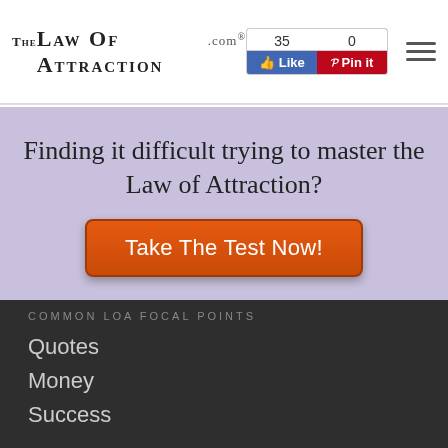TheLawOfAttraction.com® | 35 Like | 0 Pin it
Finding it difficult trying to master the Law of Attraction?
Take The Test Now!
COMMON LOA FOCAL POINTS
Quotes
Money
Success
Love